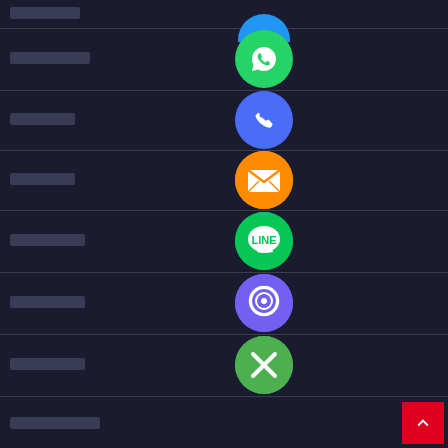[Figure (screenshot): A dark-themed contact/settings list showing social media and communication app icons (WhatsApp, Phone, Email/Mail, LINE, Viber, close button) with redacted Thai text labels on the left side of each row. A red back-to-top button is visible in the bottom right corner.]